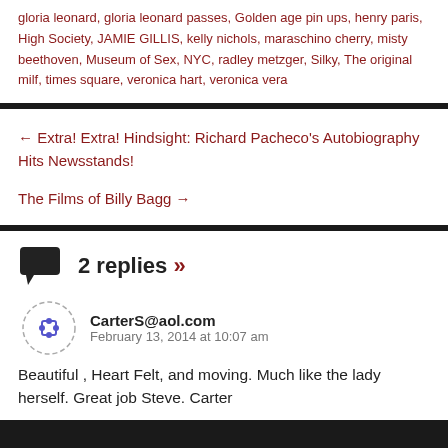gloria leonard, gloria leonard passes, Golden age pin ups, henry paris, High Society, JAMIE GILLIS, kelly nichols, maraschino cherry, misty beethoven, Museum of Sex, NYC, radley metzger, Silky, The original milf, times square, veronica hart, veronica vera
← Extra! Extra! Hindsight: Richard Pacheco's Autobiography Hits Newsstands!
The Films of Billy Bagg →
2 replies »
CarterS@aol.com
February 13, 2014 at 10:07 am
Beautiful , Heart Felt, and moving. Much like the lady herself. Great job Steve. Carter